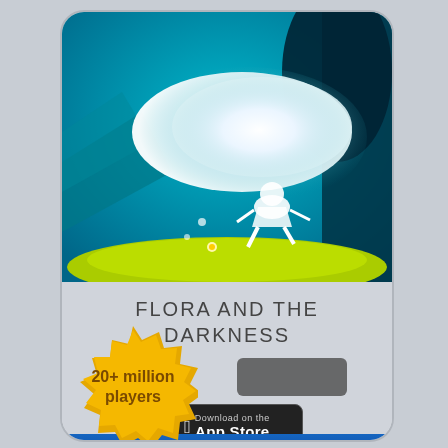[Figure (illustration): Game screenshot showing a glowing white fairy-like figure with a long flowing white hair/light trail against a teal/blue background with green grass and a small flower. Dark tree silhouette on the right.]
FLORA AND THE DARKNESS
[Figure (infographic): Gold starburst badge seal with text '20+ million players']
[Figure (logo): Google Play download button (dark/blurred)]
[Figure (logo): Download on the App Store button with Apple logo]